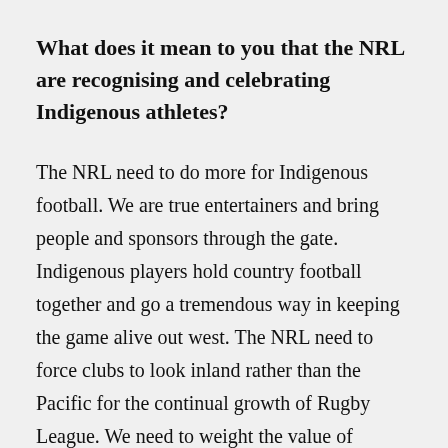What does it mean to you that the NRL are recognising and celebrating Indigenous athletes?
The NRL need to do more for Indigenous football. We are true entertainers and bring people and sponsors through the gate. Indigenous players hold country football together and go a tremendous way in keeping the game alive out west. The NRL need to force clubs to look inland rather than the Pacific for the continual growth of Rugby League. We need to weight the value of Offshore players in the Salary Cap. I feel the culture of Rugby League